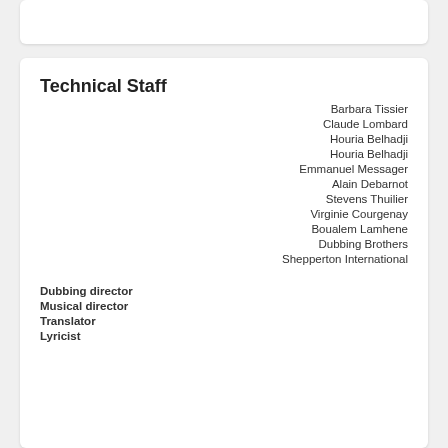Technical Staff
| Role | Name |
| --- | --- |
|  | Barbara Tissier |
|  | Claude Lombard |
|  | Houria Belhadji |
|  | Houria Belhadji |
|  | Emmanuel Messager |
|  | Alain Debarnot |
|  | Stevens Thuilier |
|  | Virginie Courgenay |
|  | Boualem Lamhene |
|  | Dubbing Brothers |
|  | Shepperton International |
| Dubbing director |  |
| Musical director |  |
| Translator |  |
| Lyricist |  |